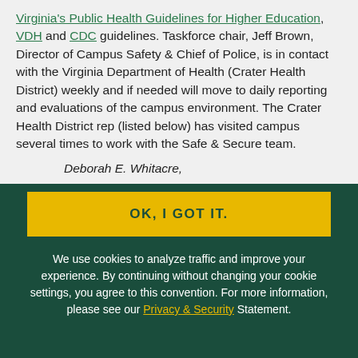Virginia's Public Health Guidelines for Higher Education, VDH and CDC guidelines. Taskforce chair, Jeff Brown, Director of Campus Safety & Chief of Police, is in contact with the Virginia Department of Health (Crater Health District) weekly and if needed will move to daily reporting and evaluations of the campus environment. The Crater Health District rep (listed below) has visited campus several times to work with the Safe & Secure team.
Deborah E. Whitacre,
OK, I GOT IT.
We use cookies to analyze traffic and improve your experience. By continuing without changing your cookie settings, you agree to this convention. For more information, please see our Privacy & Security Statement.